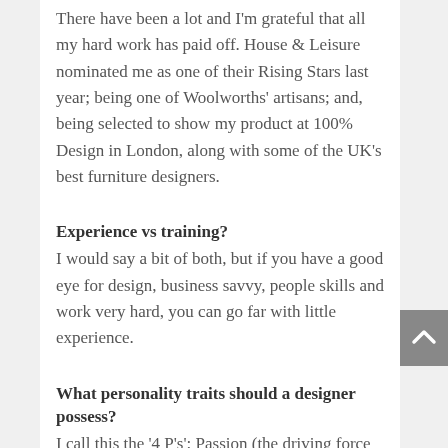There have been a lot and I'm grateful that all my hard work has paid off. House & Leisure nominated me as one of their Rising Stars last year; being one of Woolworths' artisans; and, being selected to show my product at 100% Design in London, along with some of the UK's best furniture designers.
Experience vs training?
I would say a bit of both, but if you have a good eye for design, business savvy, people skills and work very hard, you can go far with little experience.
What personality traits should a designer possess?
I call this the '4 P's': Passion (the driving force that will keep you going through all